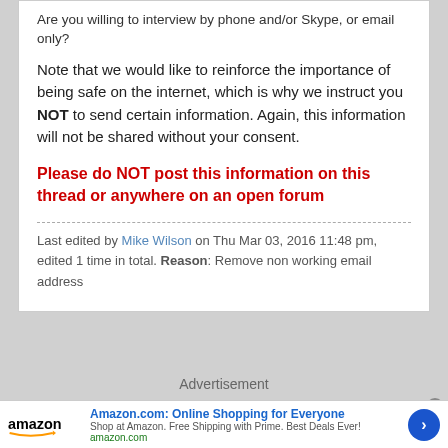Are you willing to interview by phone and/or Skype, or email only?
Note that we would like to reinforce the importance of being safe on the internet, which is why we instruct you NOT to send certain information. Again, this information will not be shared without your consent.
Please do NOT post this information on this thread or anywhere on an open forum
Last edited by Mike Wilson on Thu Mar 03, 2016 11:48 pm, edited 1 time in total. Reason: Remove non working email address
Advertisement
[Figure (screenshot): Amazon advertisement banner: 'Amazon.com: Online Shopping for Everyone', Shop at Amazon. Free Shipping with Prime. Best Deals Ever!, amazon.com]